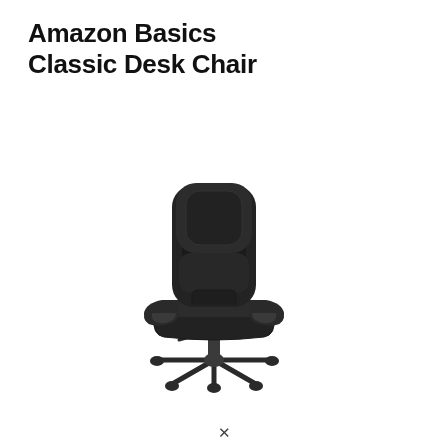Amazon Basics Classic Desk Chair
[Figure (photo): Black Amazon Basics Classic Desk Chair with padded leather-style upholstery, armrests, adjustable height gas lift, five-star wheeled base, viewed from a slight angle.]